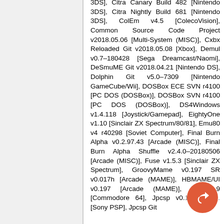3DS], Citra Canary Build 482 [Nintendo 3DS], Citra Nightly Build 681 [Nintendo 3DS], ColEm v4.5 [ColecoVision], Common Source Code Project v2018.05.06 [Multi-System (MISC)], Cxbx Reloaded Git v2018.05.08 [Xbox], Demul v0.7–180428 [Sega Dreamcast/Naomi], DeSmuME Git v2018.04.21 [Nintendo DS], Dolphin Git v5.0–7309 [Nintendo GameCube/Wii], DOSBox ECE SVN r4100 [PC DOS (DOSBox)], DOSBox SVN r4100 [PC DOS (DOSBox)], DS4Windows v1.4.118 [Joystick/Gamepad], EightyOne v1.10 [Sinclair ZX Spectrum/80/81], Emu80 v4 r40298 [Soviet Computer], Final Burn Alpha v0.2.97.43 [Arcade (MISC)], Final Burn Alpha Shuffle v2.4.0–20180506 [Arcade (MISC)], Fuse v1.5.3 [Sinclair ZX Spectrum], GroovyMame v0.197 SR v0.017h [Arcade (MAME)], HBMAME/UI v0.197 [Arcade (MAME)], H v1.0.9.9 [Commodore 64], Jpcsp v0.1dcd8448... [Sony PSP], Jpcsp Git...